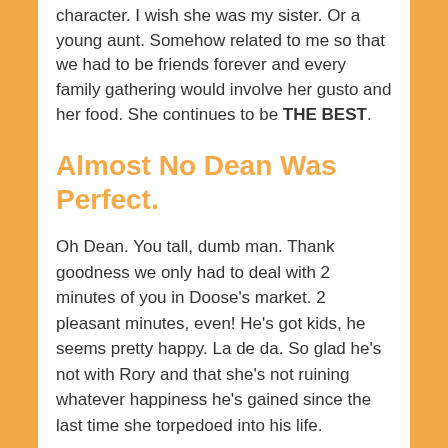character. I wish she was my sister. Or a young aunt. Somehow related to me so that we had to be friends forever and every family gathering would involve her gusto and her food. She continues to be THE BEST.
Almost No Dean Was Perfect.
Oh Dean. You tall, dumb man. Thank goodness we only had to deal with 2 minutes of you in Doose's market. 2 pleasant minutes, even! He's got kids, he seems pretty happy. La de da. So glad he's not with Rory and that she's not ruining whatever happiness he's gained since the last time she torpedoed into his life.
Why the Fat Shaming?